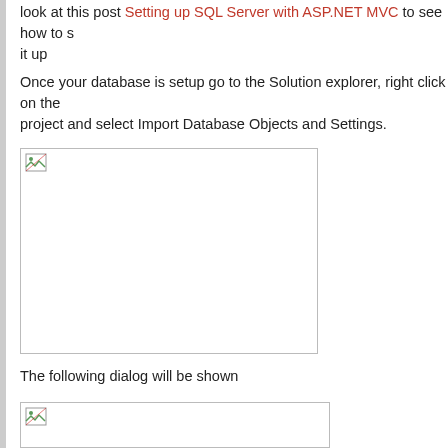look at this post Setting up SQL Server with ASP.NET MVC to see how to set it up
Once your database is setup go to the Solution explorer, right click on the project and select Import Database Objects and Settings.
[Figure (screenshot): A screenshot placeholder showing a broken image icon in the top-left corner within a bordered rectangle]
The following dialog will be shown
[Figure (screenshot): A second screenshot placeholder showing a broken image icon in the top-left corner within a bordered rectangle (partial, cut off at bottom)]